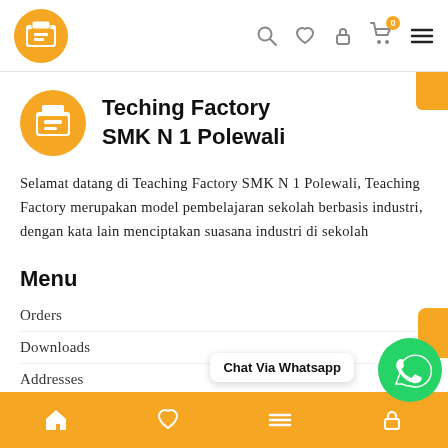Teching Factory SMK N 1 Polewali — navigation header with logo and icons
[Figure (logo): Orange circular store logo with shopping bag icon — large brand header logo]
Teching Factory
SMK N 1 Polewali
Selamat datang di Teaching Factory SMK N 1 Polewali, Teaching Factory merupakan model pembelajaran sekolah berbasis industri, dengan kata lain menciptakan suasana industri di sekolah
Menu
Orders
Downloads
Addresses
Account details
Lost password
Chat Via Whatsapp
Bottom navigation bar with home, heart, menu, lock icons